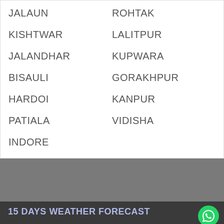JALAUN
ROHTAK
KISHTWAR
LALITPUR
JALANDHAR
KUPWARA
BISAULI
GORAKHPUR
HARDOI
KANPUR
PATIALA
VIDISHA
INDORE
15 DAYS WEATHER FORECAST
HISAR WEATHER 15 DAYS
JAMMU WEATHER 15 DAYS
AMRITSAR WEATHER 15 DAYS